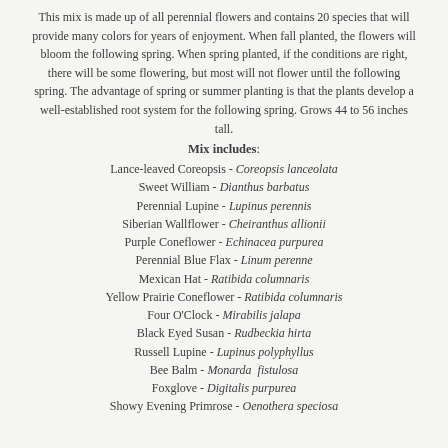This mix is made up of all perennial flowers and contains 20 species that will provide many colors for years of enjoyment. When fall planted, the flowers will bloom the following spring. When spring planted, if the conditions are right, there will be some flowering, but most will not flower until the following spring. The advantage of spring or summer planting is that the plants develop a well-established root system for the following spring. Grows 44 to 56 inches tall.
Mix includes:
Lance-leaved Coreopsis - Coreopsis lanceolata
Sweet William - Dianthus barbatus
Perennial Lupine - Lupinus perennis
Siberian Wallflower - Cheiranthus allionii
Purple Coneflower - Echinacea purpurea
Perennial Blue Flax - Linum perenne
Mexican Hat - Ratibida columnaris
Yellow Prairie Coneflower - Ratibida columnaris
Four O'Clock - Mirabilis jalapa
Black Eyed Susan - Rudbeckia hirta
Russell Lupine - Lupinus polyphyllus
Bee Balm - Monarda fistulosa
Foxglove - Digitalis purpurea
Showy Evening Primrose - Oenothera speciosa